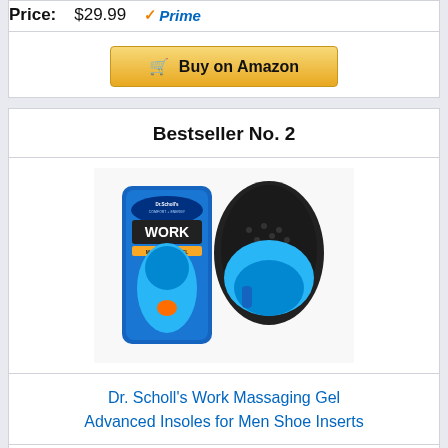Price: $29.99 Prime
Buy on Amazon
Bestseller No. 2
[Figure (photo): Dr. Scholl's Work Massaging Gel Advanced Insoles - product packaging showing insole in blue carrier card alongside a pair of blue and black gel insoles]
Dr. Scholl's Work Massaging Gel Advanced Insoles for Men Shoe Inserts
Price: $12.24 Prime